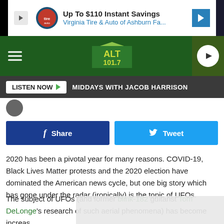[Figure (screenshot): Ad banner for Virginia Tire & Auto of Ashburn with logo, headline 'Up To $110 Instant Savings' and subtext 'Virginia Tire & Auto of Ashburn Fa...']
[Figure (screenshot): ALT 101.7 radio station navigation bar with hamburger menu, ALT 101.7 logo, and play button]
[Figure (screenshot): Listen Now bar with 'LISTEN NOW' button and 'MIDDAYS WITH JACOB HARRISON' text]
[Figure (screenshot): Facebook Share and Twitter Tweet buttons]
2020 has been a pivotal year for many reasons. COVID-19, Black Lives Matter protests and the 2020 election have dominated the American news cycle, but one big story which has gone under the radar (ironically) is the topic of UFOs.
The subject of UFOs (and former blink-182 guitarist Tom DeLonge's research of such aerial phenomena) has become increas